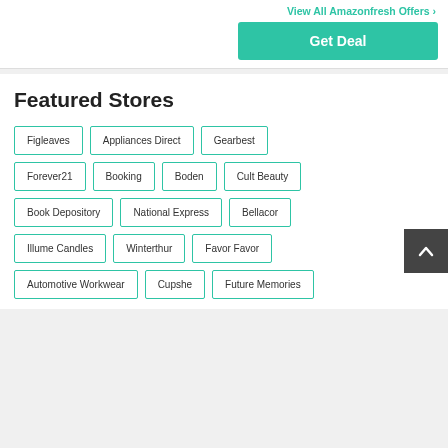View All Amazonfresh Offers >
Get Deal
Featured Stores
Figleaves
Appliances Direct
Gearbest
Forever21
Booking
Boden
Cult Beauty
Book Depository
National Express
Bellacor
Illume Candles
Winterthur
Favor Favor
Automotive Workwear
Cupshe
Future Memories